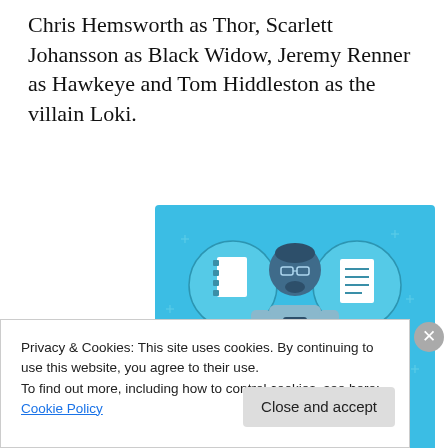Chris Hemsworth as Thor, Scarlett Johansson as Black Widow, Jeremy Renner as Hawkeye and Tom Hiddleston as the villain Loki.
[Figure (illustration): Day One journaling app advertisement banner with light blue background, showing a cartoon person holding a phone flanked by a notebook icon and a list/document icon, with text 'DAY ONE' and 'The only journaling app you'll ever need.']
Privacy & Cookies: This site uses cookies. By continuing to use this website, you agree to their use.
To find out more, including how to control cookies, see here: Cookie Policy